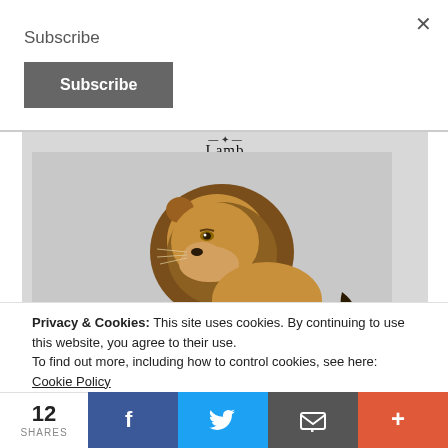Subscribe
Subscribe (button)
[Figure (illustration): Digital painting of a lion looking upward, with a title 'Lamb' and decorative line above the lion, on a grey background]
Privacy & Cookies: This site uses cookies. By continuing to use this website, you agree to their use. To find out more, including how to control cookies, see here: Cookie Policy
12 SHARES
Facebook share button, Twitter share button, Email share button, More share button